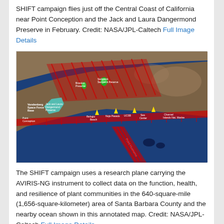SHIFT campaign flies just off the Central Coast of California near Point Conception and the Jack and Laura Dangermond Preserve in February. Credit: NASA/JPL-Caltech Full Image Details
[Figure (map): Annotated satellite map showing the SHIFT campaign flight survey area along the Central Coast of California near Santa Barbara County. Red hatched rectangles indicate flight survey regions over land and ocean. Green markers, yellow markers, and labels identify locations such as Vandenberg Space Force Base, Jack and Laura Dangermond Preserve, Refugio Beach, UCSB, and other coastal landmarks.]
The SHIFT campaign uses a research plane carrying the AVIRIS-NG instrument to collect data on the function, health, and resilience of plant communities in the 640-square-mile (1,656-square-kilometer) area of Santa Barbara County and the nearby ocean shown in this annotated map. Credit: NASA/JPL-Caltech Full Image Details